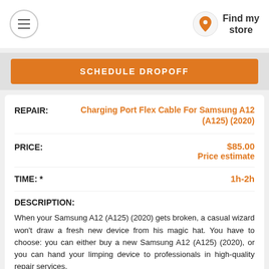Find my store
SCHEDULE DROPOFF
REPAIR: Charging Port Flex Cable For Samsung A12 (A125) (2020)
PRICE: $85.00 Price estimate
TIME: * 1h-2h
DESCRIPTION:
When your Samsung A12 (A125) (2020) gets broken, a casual wizard won't draw a fresh new device from his magic hat. You have to choose: you can either buy a new Samsung A12 (A125) (2020), or you can hand your limping device to professionals in high-quality repair services.